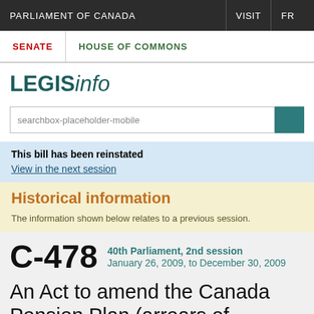PARLIAMENT OF CANADA | VISIT | FR
SENATE | HOUSE OF COMMONS
LEGISinfo
searchbox-placeholder-mobile
This bill has been reinstated
View in the next session
Historical information
The information shown below relates to a previous session.
C-478 40th Parliament, 2nd session January 26, 2009, to December 30, 2009
An Act to amend the Canada Pension Plan (arrears of benefits)